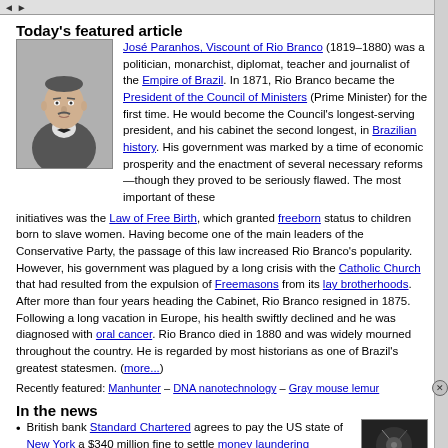Today's featured article
José Paranhos, Viscount of Rio Branco (1819–1880) was a politician, monarchist, diplomat, teacher and journalist of the Empire of Brazil. In 1871, Rio Branco became the President of the Council of Ministers (Prime Minister) for the first time. He would become the Council's longest-serving president, and his cabinet the second longest, in Brazilian history. His government was marked by a time of economic prosperity and the enactment of several necessary reforms—though they proved to be seriously flawed. The most important of these initiatives was the Law of Free Birth, which granted freeborn status to children born to slave women. Having become one of the main leaders of the Conservative Party, the passage of this law increased Rio Branco's popularity. However, his government was plagued by a long crisis with the Catholic Church that had resulted from the expulsion of Freemasons from its lay brotherhoods. After more than four years heading the Cabinet, Rio Branco resigned in 1875. Following a long vacation in Europe, his health swiftly declined and he was diagnosed with oral cancer. Rio Branco died in 1880 and was widely mourned throughout the country. He is regarded by most historians as one of Brazil's greatest statesmen. (more...)
Recently featured: Manhunter – DNA nanotechnology – Gray mouse lemur
In the news
British bank Standard Chartered agrees to pay the US state of New York a $340 million fine to settle money laundering charges.